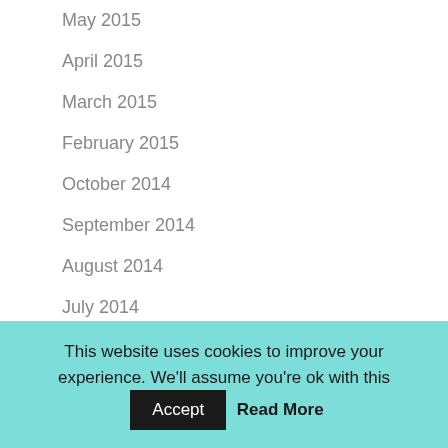May 2015
April 2015
March 2015
February 2015
October 2014
September 2014
August 2014
July 2014
June 2014
May 2014
March 2014
February 2014
This website uses cookies to improve your experience. We'll assume you're ok with this  Accept  Read More